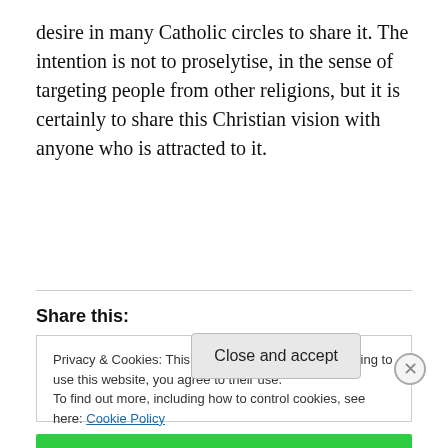desire in many Catholic circles to share it. The intention is not to proselytise, in the sense of targeting people from other religions, but it is certainly to share this Christian vision with anyone who is attracted to it.
Share this:
Privacy & Cookies: This site uses cookies. By continuing to use this website, you agree to their use.
To find out more, including how to control cookies, see here: Cookie Policy